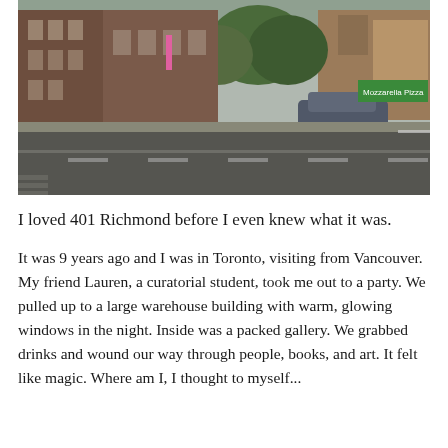[Figure (photo): Street-level HDR photograph of a row of red-brick buildings with ivy, large trees, and a car on an urban street. The road takes up the lower half of the image. A pizza restaurant sign is visible on the right side.]
I loved 401 Richmond before I even knew what it was.
It was 9 years ago and I was in Toronto, visiting from Vancouver. My friend Lauren, a curatorial student, took me out to a party. We pulled up to a large warehouse building with warm, glowing windows in the night. Inside was a packed gallery. We grabbed drinks and wound our way through people, books, and art. It felt like magic. Where am I, I thought to myself...